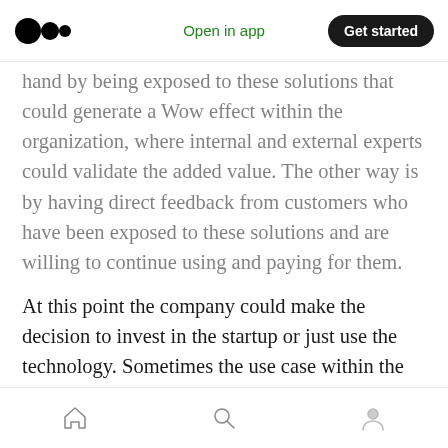Medium app header — logo, Open in app, Get started
hand by being exposed to these solutions that could generate a Wow effect within the organization, where internal and external experts could validate the added value. The other way is by having direct feedback from customers who have been exposed to these solutions and are willing to continue using and paying for them.
At this point the company could make the decision to invest in the startup or just use the technology. Sometimes the use case within the organization is very evident and can also be
Bottom navigation: Home, Search, Profile